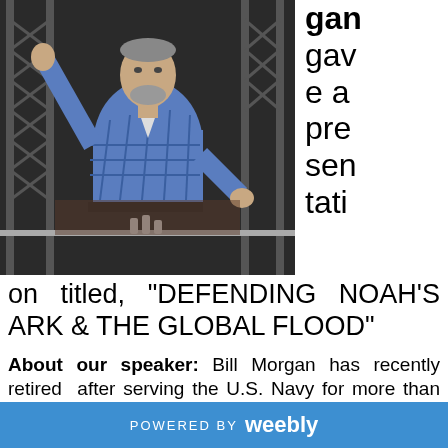[Figure (photo): A man in a blue plaid short-sleeve shirt stands in front of a dark background with metal trussing, raising one hand while gesturing.]
gan gave a presentation titled, "DEFENDING NOAH'S ARK & THE GLOBAL FLOOD"
About our speaker: Bill Morgan has recently retired after serving the U.S. Navy for more than 30 years as a mechanical design engineer. He also leads the Creation Science Fellowship of Calvary Chapel WestGrove, in Garden Grove, California. Before founding the Creation Science Fellowship of Calvary Chapel
POWERED BY weebly